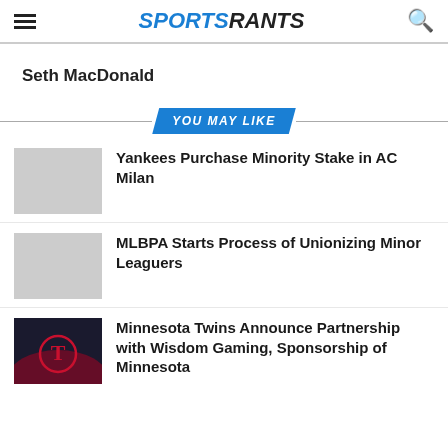SPORTSRANTS
Seth MacDonald
YOU MAY LIKE
Yankees Purchase Minority Stake in AC Milan
MLBPA Starts Process of Unionizing Minor Leaguers
Minnesota Twins Announce Partnership with Wisdom Gaming, Sponsorship of Minnesota